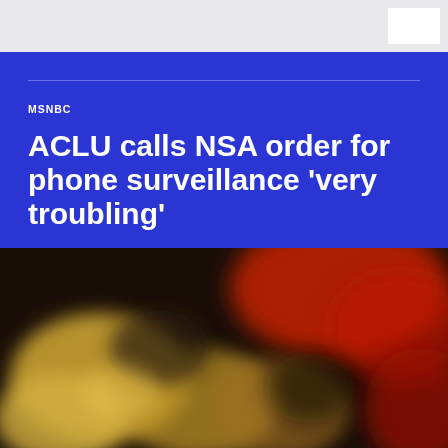MSNBC
ACLU calls NSA order for phone surveillance 'very troubling'
As you've likely seen, The Guardian reported Wednesday night that the National Security Agency got a court order in April to demand the call records of all
[Figure (photo): Blurred close-up photo of gold and red objects, possibly coins or buttons on a dark background]